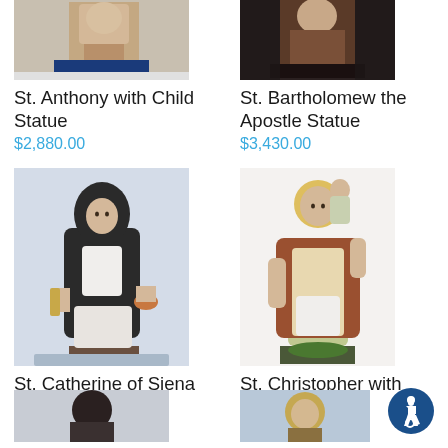[Figure (photo): Photo of St. Anthony with Child Statue — partial view, top of statue visible]
St. Anthony with Child Statue
$2,880.00
[Figure (photo): Photo of St. Bartholomew the Apostle Statue — partial view, top of statue visible]
St. Bartholomew the Apostle Statue
$3,430.00
[Figure (photo): Photo of St. Catherine of Siena Statue — full statue in black and white habit holding lantern and basket]
St. Catherine of Siena Statue
$3,110.00
[Figure (photo): Photo of St. Christopher with Child Statue — full statue in robes carrying child]
St. Christopher with Child Statue
$5,610.00
[Figure (photo): Partial top of another statue visible at bottom-left]
[Figure (photo): Partial top of another statue visible at bottom-right]
[Figure (illustration): Accessibility icon — blue circle with wheelchair user symbol]